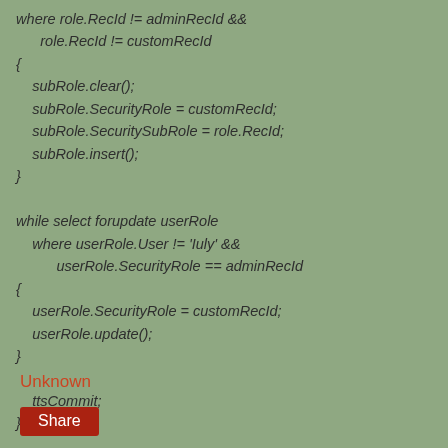where role.RecId != adminRecId &&
        role.RecId != customRecId
{
    subRole.clear();
    subRole.SecurityRole = customRecId;
    subRole.SecuritySubRole = role.RecId;
    subRole.insert();
}

while select forupdate userRole
    where userRole.User != 'Iuly' &&
          userRole.SecurityRole == adminRecId
{
    userRole.SecurityRole = customRecId;
    userRole.update();
}

    ttsCommit;
}
Unknown
Share